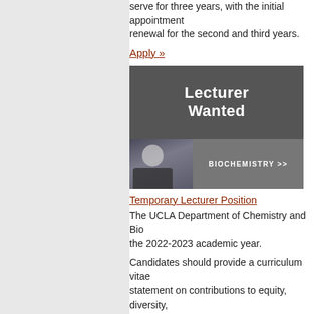serve for three years, with the initial appointment renewal for the second and third years.
Apply »
[Figure (photo): Banner image reading 'Lecturer Wanted' in white text on dark gray background, with a photo of a woman in front of a whiteboard and text 'BIOCHEMISTRY >>']
Temporary Lecturer Position
The UCLA Department of Chemistry and Bio the 2022-2023 academic year.
Candidates should provide a curriculum vitae statement on contributions to equity, diversity, Academic Recruit. Please click the link below
Biochemistry Position »
General/Physical Chemistry Positi